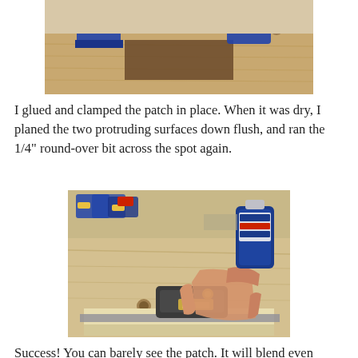[Figure (photo): Woodworking photo showing clamps holding a patch in place on a wooden workbench, with blue clamps visible at top.]
I glued and clamped the patch in place. When it was dry, I planed the two protruding surfaces down flush, and ran the 1/4" round-over bit across the spot again.
[Figure (photo): Photo showing a hand using a small woodworking plane on a light wood piece on a workbench, with Titebond Premium Wood Glue bottle visible in background along with clamps.]
Success! You can barely see the patch. It will blend even